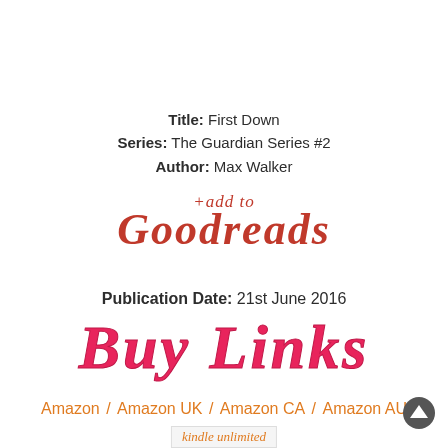Title: First Down
Series: The Guardian Series #2
Author: Max Walker
[Figure (logo): +add to Goodreads logo/link in red cursive style]
Publication Date: 21st June 2016
[Figure (illustration): Buy Links text in large pink/red bold italic handwritten-style font]
Amazon / Amazon UK / Amazon CA / Amazon AU
[Figure (logo): Kindle Unlimited logo partial at bottom]